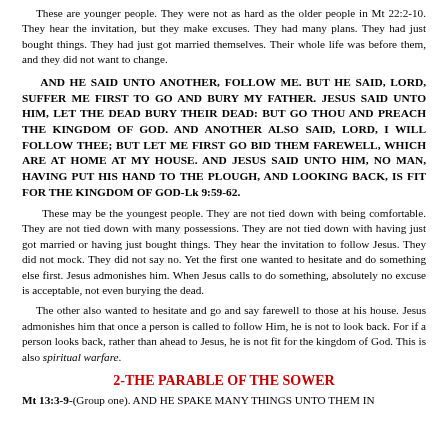These are younger people. They were not as hard as the older people in Mt 22:2-10. They hear the invitation, but they make excuses. They had many plans. They had just bought things. They had just got married themselves. Their whole life was before them, and they did not want to change.
AND HE SAID UNTO ANOTHER, FOLLOW ME. BUT HE SAID, LORD, SUFFER ME FIRST TO GO AND BURY MY FATHER. JESUS SAID UNTO HIM, LET THE DEAD BURY THEIR DEAD: BUT GO THOU AND PREACH THE KINGDOM OF GOD. AND ANOTHER ALSO SAID, LORD, I WILL FOLLOW THEE; BUT LET ME FIRST GO BID THEM FAREWELL, WHICH ARE AT HOME AT MY HOUSE. AND JESUS SAID UNTO HIM, NO MAN, HAVING PUT HIS HAND TO THE PLOUGH, AND LOOKING BACK, IS FIT FOR THE KINGDOM OF GOD-Lk 9:59-62.
These may be the youngest people. They are not tied down with being comfortable. They are not tied down with many possessions. They are not tied down with having just got married or having just bought things. They hear the invitation to follow Jesus. They did not mock. They did not say no. Yet the first one wanted to hesitate and do something else first. Jesus admonishes him. When Jesus calls to do something, absolutely no excuse is acceptable, not even burying the dead.
The other also wanted to hesitate and go and say farewell to those at his house. Jesus admonishes him that once a person is called to follow Him, he is not to look back. For if a person looks back, rather than ahead to Jesus, he is not fit for the kingdom of God. This is also spiritual warfare.
2-THE PARABLE OF THE SOWER
Mt 13:3-9-(Group one). AND HE SPAKE MANY THINGS UNTO THEM IN